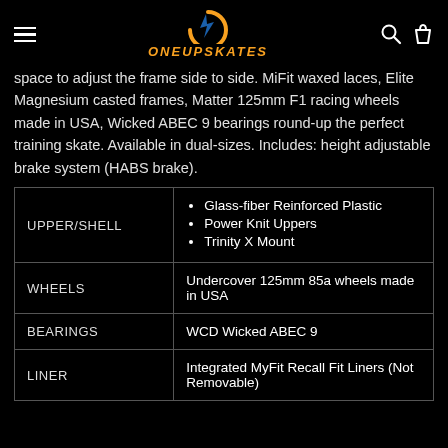ONEUPSKATES
space to adjust the frame side to side. MiFit waxed laces, Elite Magnesium casted frames, Matter 125mm F1 racing wheels made in USA, Wicked ABEC 9 bearings round-up the perfect training skate. Available in dual-sizes. Includes: height adjustable brake system (HABS brake).
| Category | Details |
| --- | --- |
| UPPER/SHELL | Glass-fiber Reinforced Plastic
Power Knit Uppers
Trinity X Mount |
| WHEELS | Undercover 125mm 85a wheels made in USA |
| BEARINGS | WCD Wicked ABEC 9 |
| LINER | Integrated MyFit Recall Fit Liners (Not Removable) |